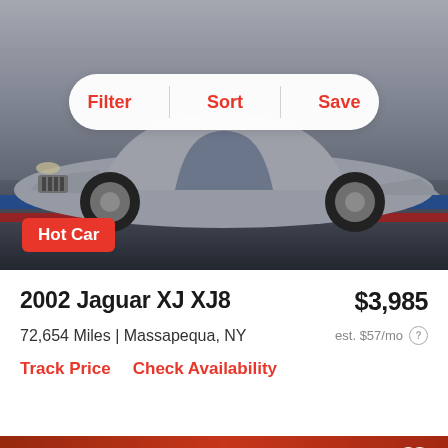[Figure (photo): Silver/gray Jaguar XJ XJ8 car photo from front angle with background dealership decoration including red, blue, white stripes and a mascot plush toy]
Filter
Sort
Save
Hot Car
2002 Jaguar XJ XJ8
$3,985
72,654 Miles | Massapequa, NY
est. $57/mo
Track Price
Check Availability
[Figure (photo): Dark/black Jaguar sedan parked in a dealership showroom with orange MOTORVATION wall signage in background]